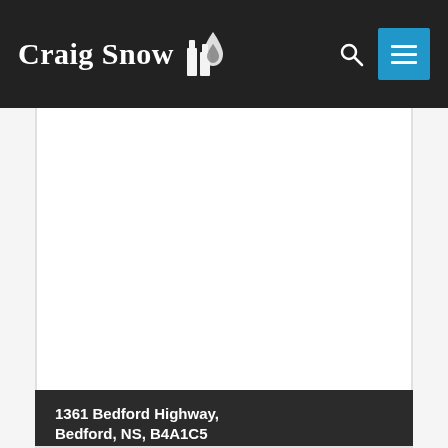Craig Snow
[Figure (photo): Property image area (white/blank)]
1361 Bedford Highway, Bedford, NS, B4A1C5
COMMERCIAL  $1,295,000
This 2 level wood frame commercial office/retail building was built in 2007 and is known as th...